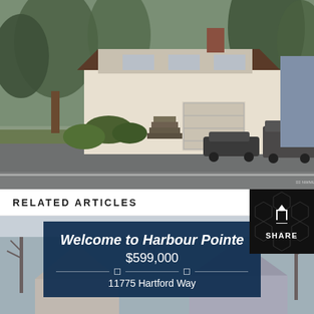[Figure (photo): Exterior photo of a two-story residential house with brown trim, white garage, cars parked in driveway, green hedges and trees, overcast day]
RELATED ARTICLES
[Figure (photo): Photo of a house exterior with a dark blue overlay box showing 'Welcome to Harbour Pointe', price $599,000, and address 11775 Hartford Way]
Welcome to Harbour Pointe
$599,000
11775 Hartford Way